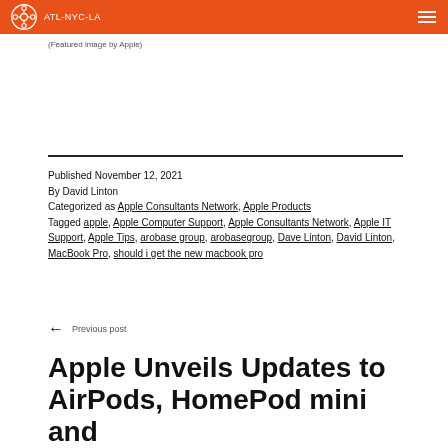ATL-NYC-LA
(Featured image by Apple)
Published November 12, 2021
By David Linton
Categorized as Apple Consultants Network, Apple Products
Tagged apple, Apple Computer Support, Apple Consultants Network, Apple IT Support, Apple Tips, arobase group, arobasegroup, Dave Linton, David Linton, MacBook Pro, should i get the new macbook pro
← Previous post
Apple Unveils Updates to AirPods, HomePod mini and